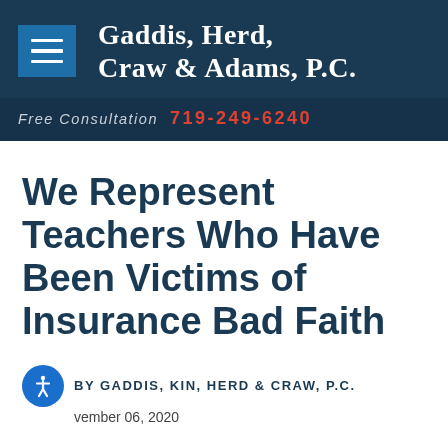[Figure (logo): Gaddis, Herd, Craw & Adams, P.C. law firm header with hamburger menu icon, firm name in serif white text on dark navy background, and free consultation phone number 719-249-6240 in red on dark blue bar]
We Represent Teachers Who Have Been Victims of Insurance Bad Faith
BY GADDIS, KIN, HERD & CRAW, P.C.
November 06, 2020